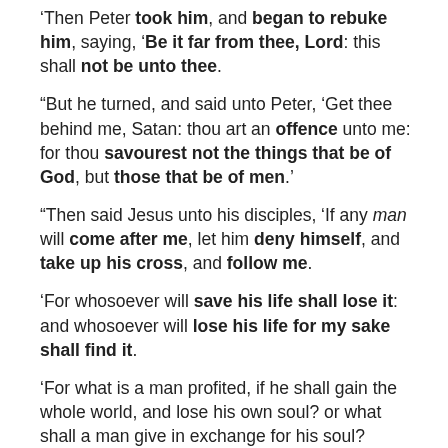‘Then Peter took him, and began to rebuke him, saying, ‘Be it far from thee, Lord: this shall not be unto thee.
“But he turned, and said unto Peter, ‘Get thee behind me, Satan: thou art an offence unto me: for thou savourest not the things that be of God, but those that be of men.’
“Then said Jesus unto his disciples, ‘If any man will come after me, let him deny himself, and take up his cross, and follow me.
‘For whosoever will save his life shall lose it: and whosoever will lose his life for my sake shall find it.
‘For what is a man profited, if he shall gain the whole world, and lose his own soul? or what shall a man give in exchange for his soul?